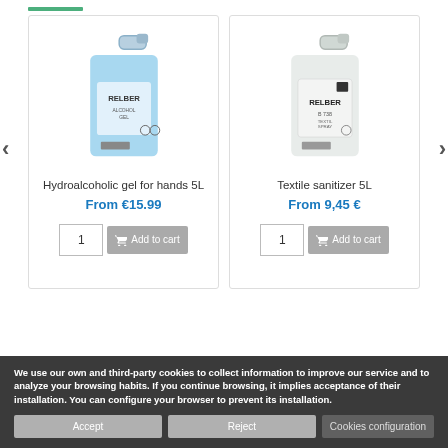[Figure (photo): Green underline bar at the top left of the page]
[Figure (photo): Blue 5L jug of RELBER ALCOHOL GEL hydroalcoholic hand sanitizer]
Hydroalcoholic gel for hands 5L
From €15.99
[Figure (photo): White/grey 5L jug of RELBER B 738 TEXTIL SPRAY textile sanitizer]
Textile sanitizer 5L
From 9,45 €
We use our own and third-party cookies to collect information to improve our service and to analyze your browsing habits. If you continue browsing, it implies acceptance of their installation. You can configure your browser to prevent its installation.
Accept
Reject
Cookies configuration